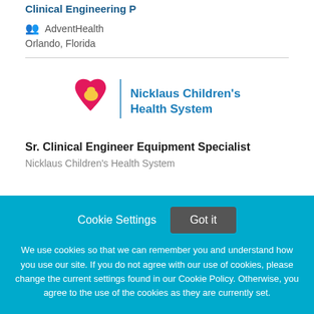Clinical Engineering P
AdventHealth
Orlando, Florida
[Figure (logo): Nicklaus Children's Health System logo with heart and polar bear icon]
Sr. Clinical Engineer Equipment Specialist
Nicklaus Children's Health System
Cookie Settings   Got it

We use cookies so that we can remember you and understand how you use our site. If you do not agree with our use of cookies, please change the current settings found in our Cookie Policy. Otherwise, you agree to the use of the cookies as they are currently set.